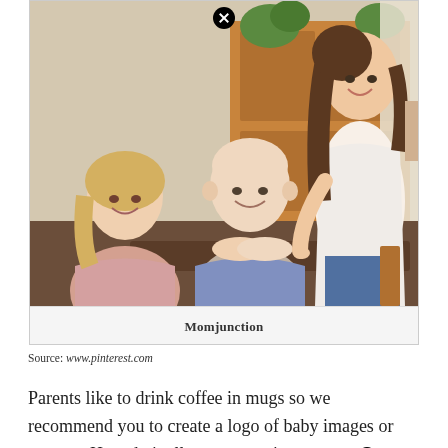[Figure (photo): A family scene: an older blonde woman and a bald middle-aged man sit at a dark wooden table smiling, while a young woman with long curly hair stands across from them gesturing, apparently sharing news. Wooden cabinet with plants visible in background. A watermark 'Momjunction' appears at the bottom of the image. A close/X button appears at the top center.]
Source: www.pinterest.com
Parents like to drink coffee in mugs so we recommend you to create a logo of baby images or content. How do i tell my parents i got someo[X] pregnant?